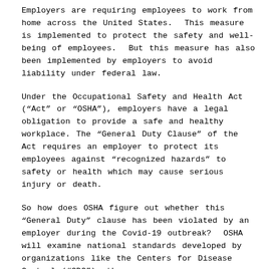Employers are requiring employees to work from home across the United States.  This measure is implemented to protect the safety and well-being of employees.  But this measure has also been implemented by employers to avoid liability under federal law.
Under the Occupational Safety and Health Act (“Act” or “OSHA”), employers have a legal obligation to provide a safe and healthy workplace. The “General Duty Clause” of the Act requires an employer to protect its employees against “recognized hazards” to safety or health which may cause serious injury or death.
So how does OSHA figure out whether this “General Duty” clause has been violated by an employer during the Covid-19 outbreak?  OSHA will examine national standards developed by organizations like the Centers for Disease Control (“CDC”), the